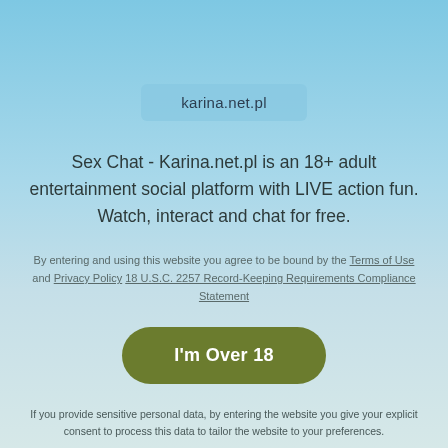karina.net.pl
Sex Chat - Karina.net.pl is an 18+ adult entertainment social platform with LIVE action fun. Watch, interact and chat for free.
By entering and using this website you agree to be bound by the Terms of Use and Privacy Policy 18 U.S.C. 2257 Record-Keeping Requirements Compliance Statement
I'm Over 18
If you provide sensitive personal data, by entering the website you give your explicit consent to process this data to tailor the website to your preferences.